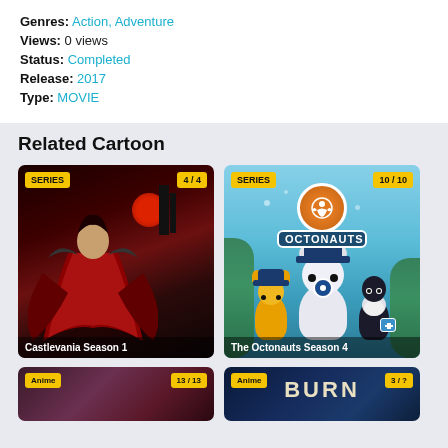Genres: Action, Adventure
Views: 0 views
Status: Completed
Release: 2017
Type: MOVIE
Related Cartoon
[Figure (photo): Castlevania Season 1 card with SERIES badge showing 4/4, dark fantasy artwork with vampire figure and red moon]
[Figure (photo): The Octonauts Season 4 card with SERIES badge showing 10/10, underwater animated show poster with characters]
[Figure (photo): Partial card bottom row left - Anime badge with 13/13]
[Figure (photo): Partial card bottom row right - Anime badge with BURN text, 3/? episodes]